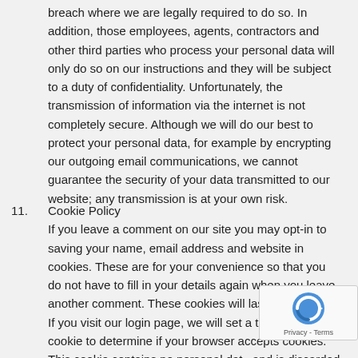breach where we are legally required to do so. In addition, those employees, agents, contractors and other third parties who process your personal data will only do so on our instructions and they will be subject to a duty of confidentiality. Unfortunately, the transmission of information via the internet is not completely secure. Although we will do our best to protect your personal data, for example by encrypting our outgoing email communications, we cannot guarantee the security of your data transmitted to our website; any transmission is at your own risk.
11. Cookie Policy
If you leave a comment on our site you may opt-in to saving your name, email address and website in cookies. These are for your convenience so that you do not have to fill in your details again when you leave another comment. These cookies will last for one year.
If you visit our login page, we will set a temporary cookie to determine if your browser accepts cookies. This cookie contains no personal data and is discarded when you close your browser.